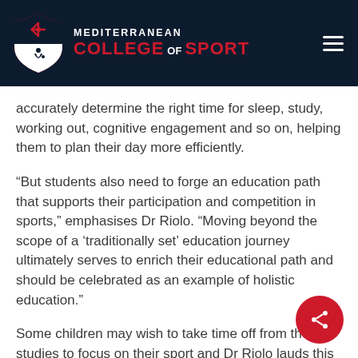[Figure (logo): Mediterranean College of Sport logo — shield emblem with red and white design on dark navy header bar]
accurately determine the right time for sleep, study, working out, cognitive engagement and so on, helping them to plan their day more efficiently.
“But students also need to forge an education path that supports their participation and competition in sports,” emphasises Dr Riolo. “Moving beyond the scope of a ‘traditionally set’ education journey ultimately serves to enrich their educational path and should be celebrated as an example of holistic education.”
Some children may wish to take time off from their studies to focus on their sport and Dr Riolo lauds this as an important step in their personal development, offering them vital exposure to the outside world. However, some